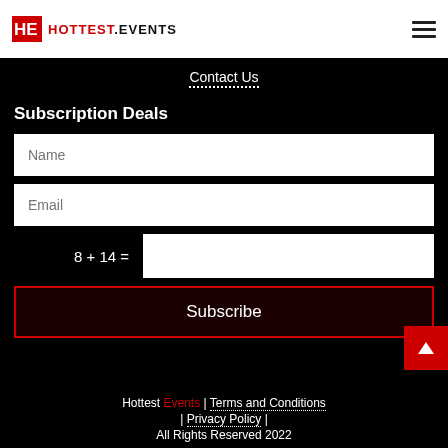HOTTEST.EVENTS
Contact Us
Subscription Deals
Name
Email
8 + 14 =
Subscribe
Hottest Events | Terms and Conditions | Privacy Policy | All Rights Reserved 2022